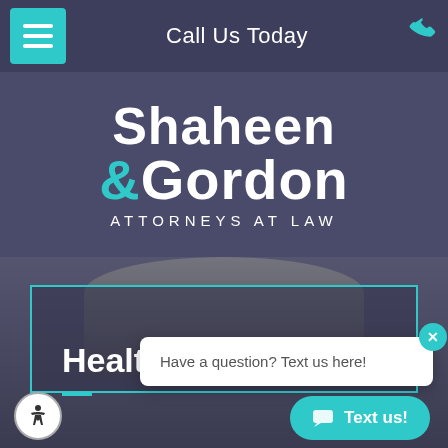Call Us Today
Shaheen & Gordon ATTORNEYS AT LAW
Healthcare Law FAQs
Have a question? Text us here!
Text us!